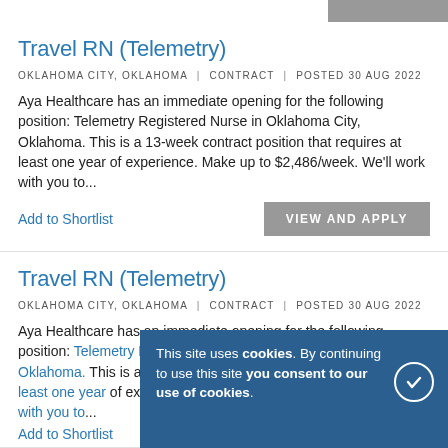Travel RN (Telemetry)
OKLAHOMA CITY, OKLAHOMA  |  CONTRACT  |  POSTED 30 AUG 2022
Aya Healthcare has an immediate opening for the following position: Telemetry Registered Nurse in Oklahoma City, Oklahoma. This is a 13-week contract position that requires at least one year of experience. Make up to $2,486/week. We'll work with you to...
Add to Shortlist
Travel RN (Telemetry)
OKLAHOMA CITY, OKLAHOMA  |  CONTRACT  |  POSTED 30 AUG 2022
Aya Healthcare has an immediate opening for the following position: Telemetry Registered Nurse in Oklahoma City, Oklahoma. This is a 13-week contract position that requires at least one year of experience. Make up to $2,086/week. We'll work with you to...
Add to Shortlist
This site uses cookies. By continuing to use this site you consent to our use of cookies.